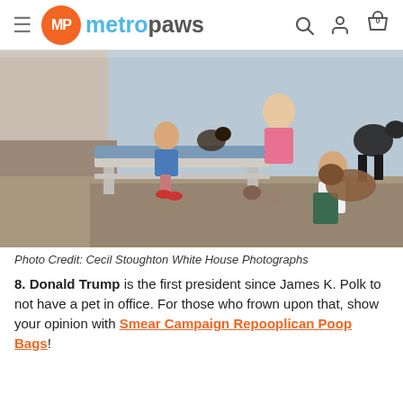metropaws
[Figure (photo): Vintage color photograph of children sitting outdoors on a patio with multiple dogs, one child on a bench, another sitting on stone ground hugging a large dog. A woman in pink is visible in the background. Photo credit: Cecil Stoughton White House Photographs.]
Photo Credit: Cecil Stoughton White House Photographs
8. Donald Trump is the first president since James K. Polk to not have a pet in office. For those who frown upon that, show your opinion with Smear Campaign Repooplican Poop Bags!